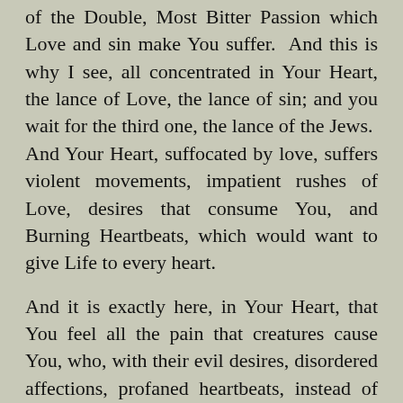of the Double, Most Bitter Passion which Love and sin make You suffer. And this is why I see, all concentrated in Your Heart, the lance of Love, the lance of sin; and you wait for the third one, the lance of the Jews. And Your Heart, suffocated by love, suffers violent movements, impatient rushes of Love, desires that consume You, and Burning Heartbeats, which would want to give Life to every heart.
And it is exactly here, in Your Heart, that You feel all the pain that creatures cause You, who, with their evil desires, disordered affections, profaned heartbeats, instead of wanting Your Love, look for other loves. Jesus, how much You suffer! I see You faint, submerged by the waves of our iniquities. I compassionate You, and I want to soothe the bitterness of Your Heart, pierced three times, by offering You the Eternal Sweetnesses and the Most Sweet Love of Dear Mama Mary, as well as those of all Your true lovers.
And you, O Jesus, I ask to you, please, that the Life...